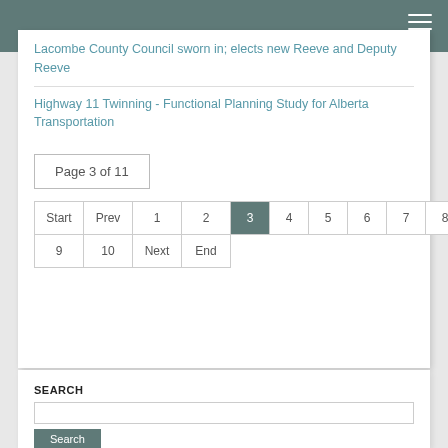Lacombe County Council sworn in; elects new Reeve and Deputy Reeve
Highway 11 Twinning - Functional Planning Study for Alberta Transportation
Page 3 of 11
Start | Prev | 1 | 2 | 3 (current) | 4 | 5 | 6 | 7 | 8 | 9 | 10 | Next | End
SEARCH